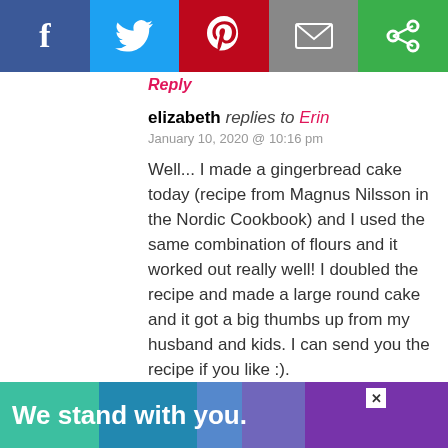[Figure (other): Social sharing bar with Facebook (blue), Twitter (light blue), Pinterest (red), Email (gray), and a green share button icons]
Reply
elizabeth replies to Erin
January 10, 2020 @ 10:16 pm

Well... I made a gingerbread cake today (recipe from Magnus Nilsson in the Nordic Cookbook) and I used the same combination of flours and it worked out really well! I doubled the recipe and made a large round cake and it got a big thumbs up from my husband and kids. I can send you the recipe if you like :).
Reply
elizabeth replies to elizabeth
January 10, 2020 @ 11:05 pm
[Figure (other): Scroll to top button overlay]
[Figure (other): We stand with you. advertisement banner at bottom]